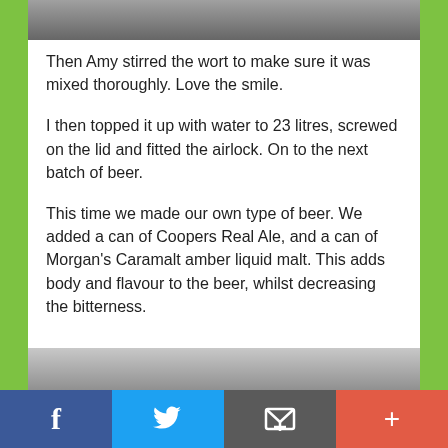[Figure (photo): Top portion of a photo showing a brewing scene, partially cropped]
Then Amy stirred the wort to make sure it was mixed thoroughly.  Love the smile.
I then topped it up with water to 23 litres, screwed on the lid and fitted the airlock.  On to the next batch of beer.
This time we made our own type of beer.  We added a can of Coopers Real Ale, and a can of Morgan's Caramalt amber liquid malt.  This adds body and flavour to the beer, whilst decreasing the bitterness.
[Figure (photo): Bottom portion of a photo showing a can with a label, partially cropped at bottom]
f  [Twitter bird]  [Email icon]  +